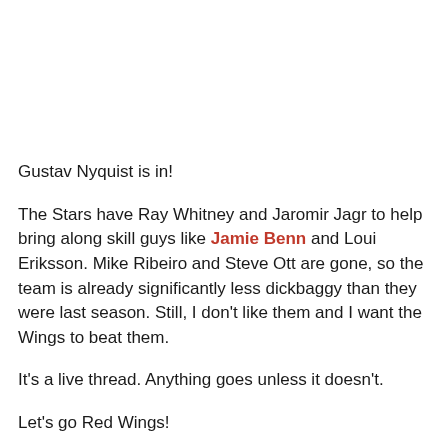Gustav Nyquist is in!
The Stars have Ray Whitney and Jaromir Jagr to help bring along skill guys like Jamie Benn and Loui Eriksson. Mike Ribeiro and Steve Ott are gone, so the team is already significantly less dickbaggy than they were last season. Still, I don't like them and I want the Wings to beat them.
It's a live thread. Anything goes unless it doesn't.
Let's go Red Wings!